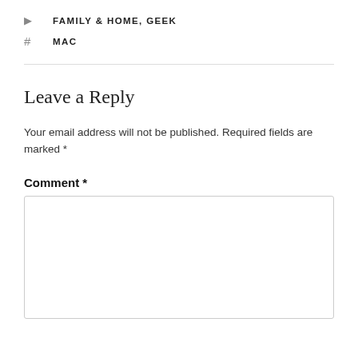FAMILY & HOME, GEEK
MAC
Leave a Reply
Your email address will not be published. Required fields are marked *
Comment *